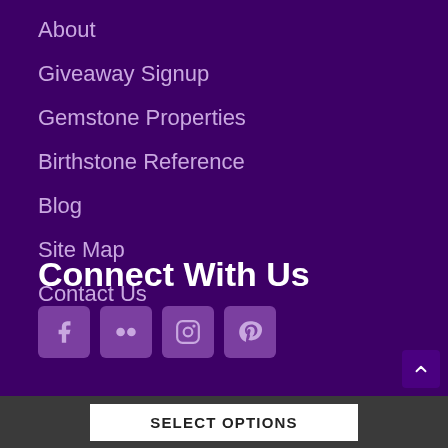About
Giveaway Signup
Gemstone Properties
Birthstone Reference
Blog
Site Map
Contact Us
Connect With Us
[Figure (other): Social media icons: Facebook, Flickr, Instagram, Pinterest]
SELECT OPTIONS